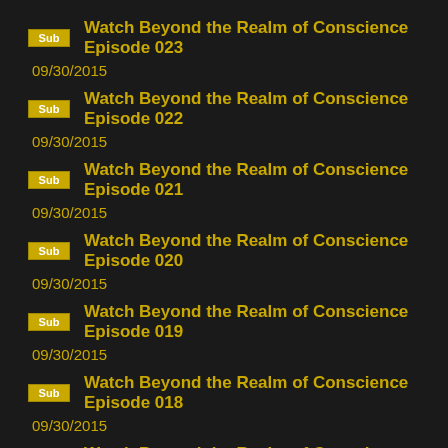Sub  Watch Beyond the Realm of Conscience Episode 023
09/30/2015
Sub  Watch Beyond the Realm of Conscience Episode 022
09/30/2015
Sub  Watch Beyond the Realm of Conscience Episode 021
09/30/2015
Sub  Watch Beyond the Realm of Conscience Episode 020
09/30/2015
Sub  Watch Beyond the Realm of Conscience Episode 019
09/30/2015
Sub  Watch Beyond the Realm of Conscience Episode 018
09/30/2015
Sub  Watch Beyond the Realm of Conscience Episode 017